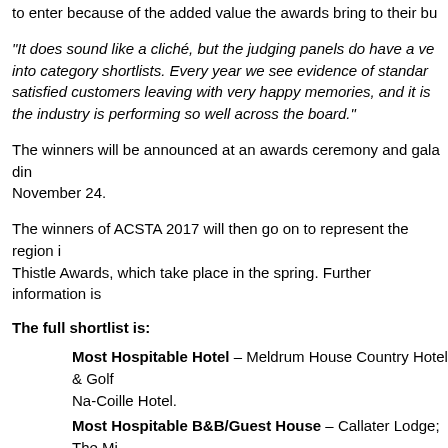to enter because of the added value the awards bring to their bu
“It does sound like a cliché, but the judging panels do have a ve into category shortlists. Every year we see evidence of standar satisfied customers leaving with very happy memories, and it is the industry is performing so well across the board.”
The winners will be announced at an awards ceremony and gala din November 24.
The winners of ACSTA 2017 will then go on to represent the region i Thistle Awards, which take place in the spring. Further information is
The full shortlist is:
Most Hospitable Hotel – Meldrum House Country Hotel & Golf Na-Coille Hotel.
Most Hospitable B&B/Guest House – Callater Lodge; The Mi
Best Accommodation Provider – Ballater Hostel; Buttermere
Best Bar/Pub – Revolution Bar Aberdeen; The Grill; McGinty's
Best outdoor/adventure/Tourism...